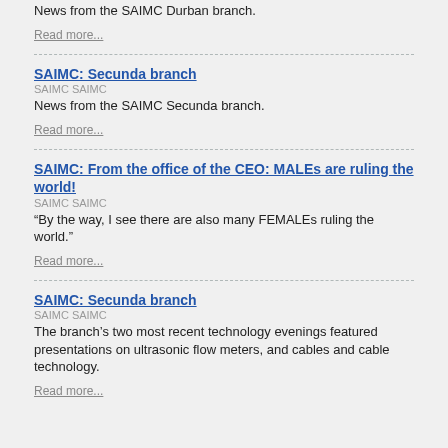News from the SAIMC Durban branch.
Read more...
SAIMC: Secunda branch
SAIMC SAIMC
News from the SAIMC Secunda branch.
Read more...
SAIMC: From the office of the CEO: MALEs are ruling the world!
SAIMC SAIMC
“By the way, I see there are also many FEMALEs ruling the world.”
Read more...
SAIMC: Secunda branch
SAIMC SAIMC
The branch’s two most recent technology evenings featured presentations on ultrasonic flow meters, and cables and cable technology.
Read more...